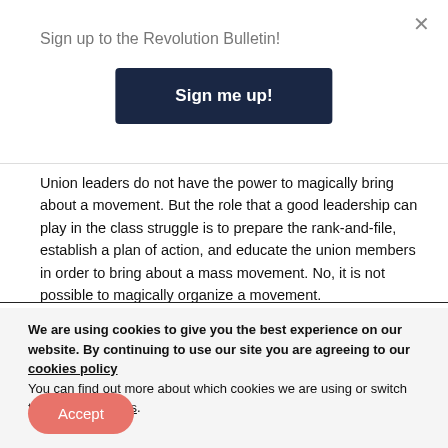Sign up to the Revolution Bulletin!
Sign me up!
Union leaders do not have the power to magically bring about a movement. But the role that a good leadership can play in the class struggle is to prepare the rank-and-file, establish a plan of action, and educate the union members in order to bring about a mass movement. No, it is not possible to magically organize a movement.
We are using cookies to give you the best experience on our website. By continuing to use our site you are agreeing to our cookies policy
You can find out more about which cookies we are using or switch them off in settings.
Accept